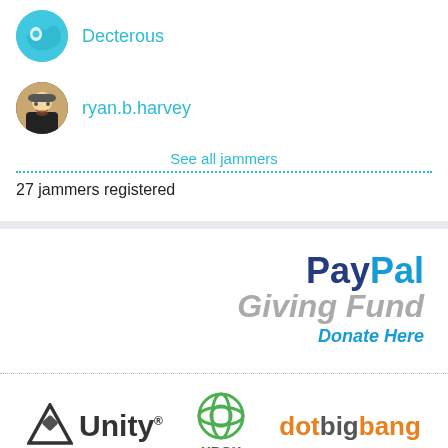Decterous
ryan.b.harvey
See all jammers
27 jammers registered
[Figure (logo): PayPal Giving Fund Donate Here logo]
[Figure (logo): Unity logo]
[Figure (logo): Xbox logo]
[Figure (logo): dotbigbang logo]